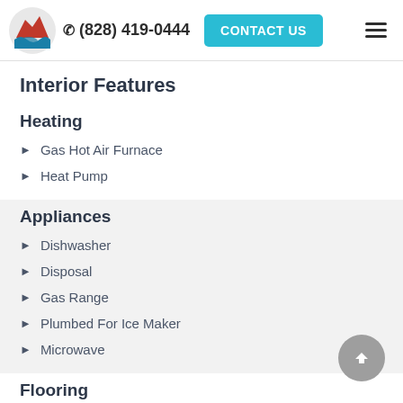(828) 419-0444  CONTACT US
Interior Features
Heating
Gas Hot Air Furnace
Heat Pump
Appliances
Dishwasher
Disposal
Gas Range
Plumbed For Ice Maker
Microwave
Flooring
Carpet
Vinyl